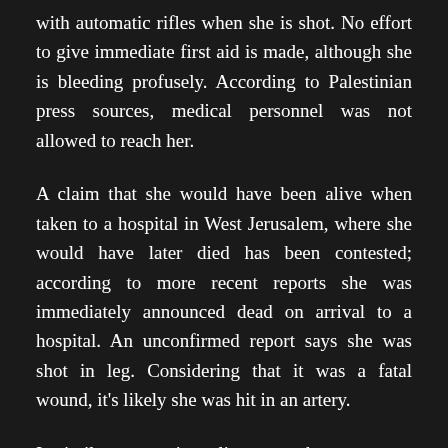with automatic rifles when she is shot. No effort to give immediate first aid is made, although she is bleeding profusely. According to Palestinian press sources, medical personnel was not allowed to reach her.
A claim that she would have been alive when taken to a hospital in West Jerusalem, where she would have later died has been contested; according to more recent reports she was immediately announced dead on arrival to a hospital. An unconfirmed report says she was shot in leg. Considering that it was a fatal wound, it's likely she was hit in an artery.
In similar manner in earlier reports her age was